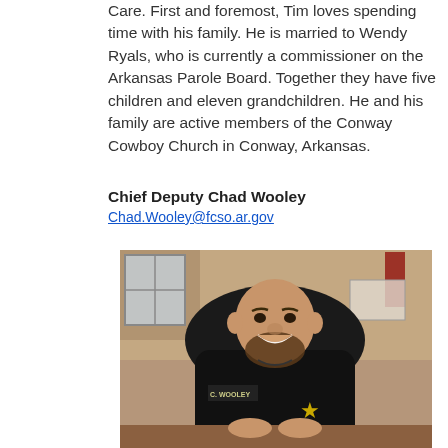Care. First and foremost, Tim loves spending time with his family. He is married to Wendy Ryals, who is currently a commissioner on the Arkansas Parole Board. Together they have five children and eleven grandchildren. He and his family are active members of the Conway Cowboy Church in Conway, Arkansas.
Chief Deputy Chad Wooley
Chad.Wooley@fcso.ar.gov
[Figure (photo): Photo of Chief Deputy Chad Wooley, a bald man with a beard wearing a black uniform shirt with a star badge emblem and name tag reading 'C. WOOLEY', seated at a desk in an office, smiling at the camera.]